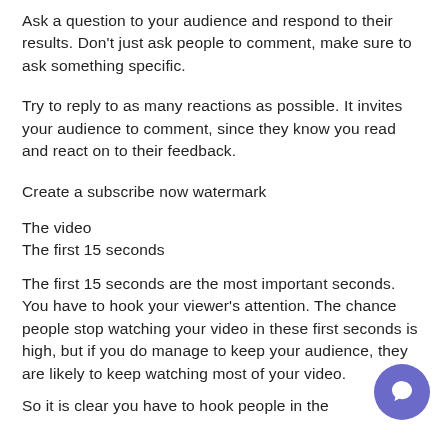Ask a question to your audience and respond to their results. Don't just ask people to comment, make sure to ask something specific.
Try to reply to as many reactions as possible. It invites your audience to comment, since they know you read and react on to their feedback.
Create a subscribe now watermark
The video
The first 15 seconds
The first 15 seconds are the most important seconds. You have to hook your viewer's attention. The chance people stop watching your video in these first seconds is high, but if you do manage to keep your audience, they are likely to keep watching most of your video.
So it is clear you have to hook people in the